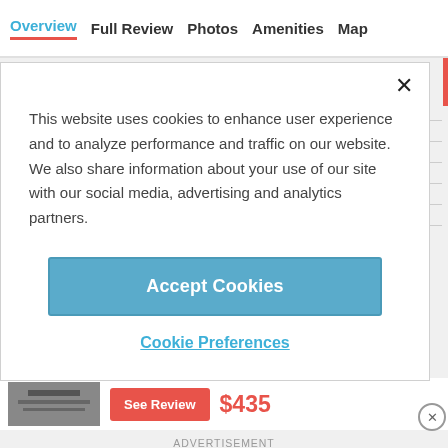Overview  Full Review  Photos  Amenities  Map
This website uses cookies to enhance user experience and to analyze performance and traffic on our website. We also share information about your use of our site with our social media, advertising and analytics partners.
Accept Cookies
Cookie Preferences
See Review
$435
ADVERTISEMENT
FREEMILE
Loews Boston Hotel
Back Bay